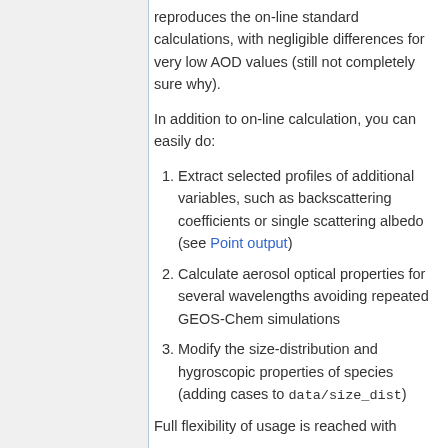reproduces the on-line standard calculations, with negligible differences for very low AOD values (still not completely sure why).
In addition to on-line calculation, you can easily do:
Extract selected profiles of additional variables, such as backscattering coefficients or single scattering albedo (see Point output)
Calculate aerosol optical properties for several wavelengths avoiding repeated GEOS-Chem simulations
Modify the size-distribution and hygroscopic properties of species (adding cases to data/size_dist)
Full flexibility of usage is reached with